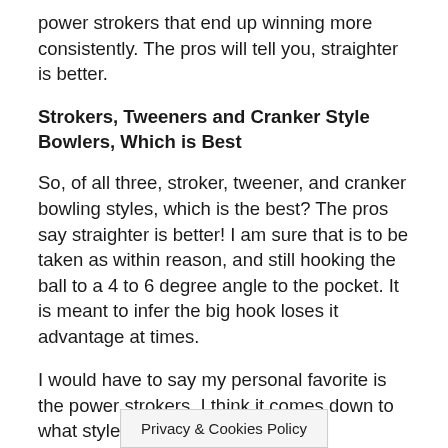power strokers that end up winning more consistently. The pros will tell you, straighter is better.
Strokers, Tweeners and Cranker Style Bowlers, Which is Best
So, of all three, stroker, tweener, and cranker bowling styles, which is the best? The pros say straighter is better! I am sure that is to be taken as within reason, and still hooking the ball to a 4 to 6 degree angle to the pocket. It is meant to infer the big hook loses it advantage at times.
I would have to say my personal favorite is the power strokers. I think it comes down to what style you h... you
Privacy & Cookies Policy